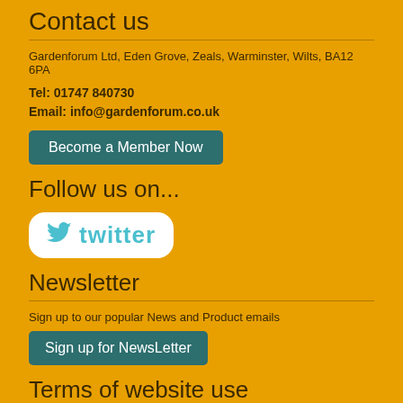Contact us
Gardenforum Ltd, Eden Grove, Zeals, Warminster, Wilts, BA12 6PA
Tel: 01747 840730
Email: info@gardenforum.co.uk
Become a Member Now
Follow us on...
[Figure (logo): Twitter logo badge with bird icon and 'twitter' text on white rounded background]
Newsletter
Sign up to our popular News and Product emails
Sign up for NewsLetter
Terms of website use
Terms and Conditions
Acceptable Use Policy
Privacy Policy
Cookie Policy
Advertise with us